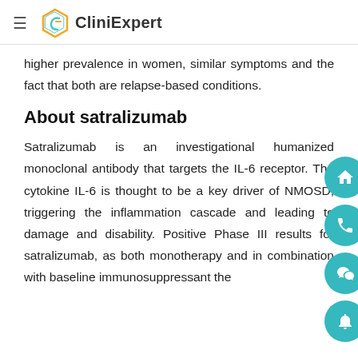CliniExpert
higher prevalence in women, similar symptoms and the fact that both are relapse-based conditions.
About satralizumab
Satralizumab is an investigational humanized monoclonal antibody that targets the IL-6 receptor. The cytokine IL-6 is thought to be a key driver of NMOSD, triggering the inflammation cascade and leading to damage and disability. Positive Phase III results for satralizumab, as both monotherapy and in combination with baseline immunosuppressant the are reports that IL-6 inhibition reduces